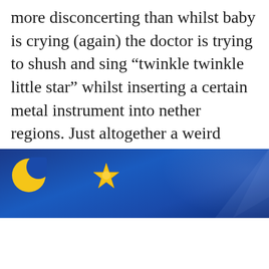more disconcerting than whilst baby is crying (again) the doctor is trying to shush and sing “twinkle twinkle little star” whilst inserting a certain metal instrument into nether regions. Just altogether a weird experience.
[Figure (illustration): Cartoon children’s illustration with a blue night-sky background featuring a yellow crescent moon and a golden star character, with a cookie consent banner overlaid, and a partially visible baby illustration at the bottom.]
Privacy & Cookies: This site uses cookies. By continuing to use this website, you agree to their use.
To find out more, including how to control cookies, see here: Cookie Policy